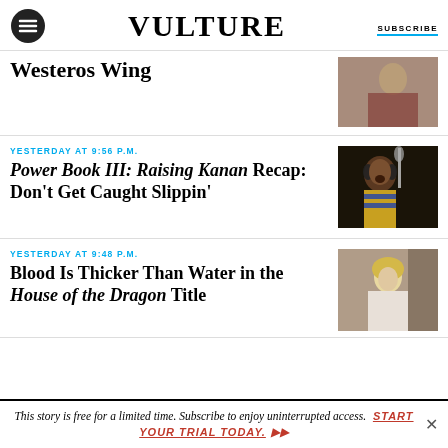VULTURE | SUBSCRIBE
Westeros Wing
YESTERDAY AT 9:56 P.M.
Power Book III: Raising Kanan Recap: Don't Get Caught Slippin'
[Figure (photo): Person singing into microphone with headphones, wearing striped sweater]
YESTERDAY AT 9:48 P.M.
Blood Is Thicker Than Water in the House of the Dragon Title
[Figure (photo): Blond woman in white dress in House of the Dragon]
This story is free for a limited time. Subscribe to enjoy uninterrupted access. START YOUR TRIAL TODAY.